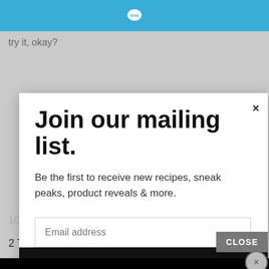SMS icon header bar
try it, okay?
Join our mailing list.
Be the first to receive new recipes, sneak peaks, product reveals & more.
Email address
Subscribe
CLOSE
1/3 c. chocolate chips
2 T. brown sugar